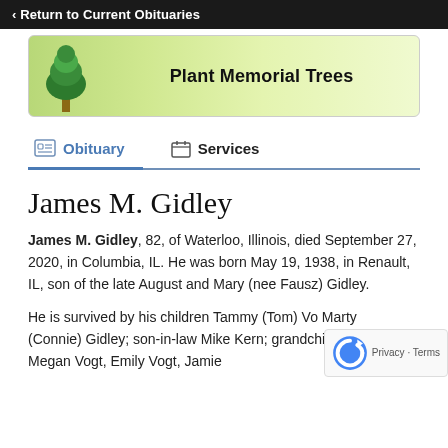‹ Return to Current Obituaries
[Figure (illustration): Banner with a green tree illustration on the left and text 'Plant Memorial Trees' on a green gradient background]
Obituary | Services
James M. Gidley
James M. Gidley, 82, of Waterloo, Illinois, died September 27, 2020, in Columbia, IL. He was born May 19, 1938, in Renault, IL, son of the late August and Mary (nee Fausz) Gidley.
He is survived by his children Tammy (Tom) Vo... Marty (Connie) Gidley; son-in-law Mike Kern; grandchildren Megan Vogt, Emily Vogt, Jamie